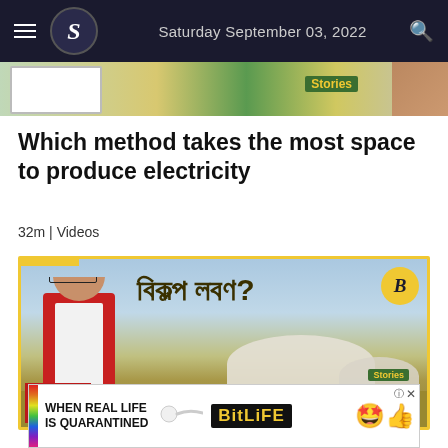Saturday September 03, 2022
[Figure (screenshot): Top thumbnail strip showing a Stories video preview with colorful background]
Which method takes the most space to produce electricity
32m | Videos
[Figure (screenshot): Video thumbnail showing a woman presenter with Bengali text reading 'বিকল্প লবণ?' (Alternative salt?) with a salt mound landscape background, Stories badge, and BBC B logo]
[Figure (screenshot): Advertisement banner: WHEN REAL LIFE IS QUARANTINED - BitLife app ad with rainbow stripe, emoji characters]